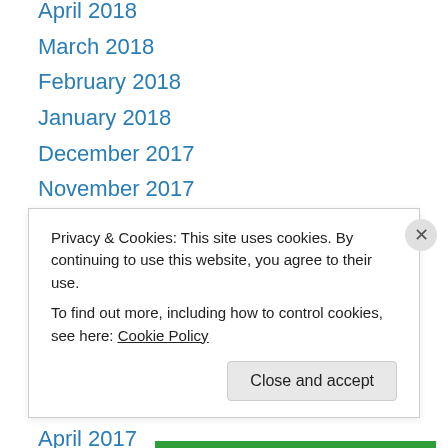April 2018
March 2018
February 2018
January 2018
December 2017
November 2017
October 2017
September 2017
August 2017
July 2017
June 2017
May 2017
April 2017
March 2017
Privacy & Cookies: This site uses cookies. By continuing to use this website, you agree to their use. To find out more, including how to control cookies, see here: Cookie Policy
Close and accept